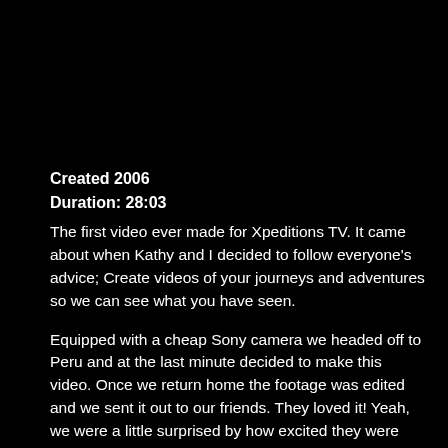Created 2006
Duration: 28:03
The first video ever made for Xpeditions TV. It came about when Kathy and I decided to follow everyone's advice; Create videos of your journeys and adventures so we can see what you have seen.
Equipped with a cheap Sony camera we headed off to Peru and at the last minute decided to make this video. Once we return home the footage was edited and we sent it out to our friends. They loved it! Yeah, we were a little surprised by how excited they were after seeing it.